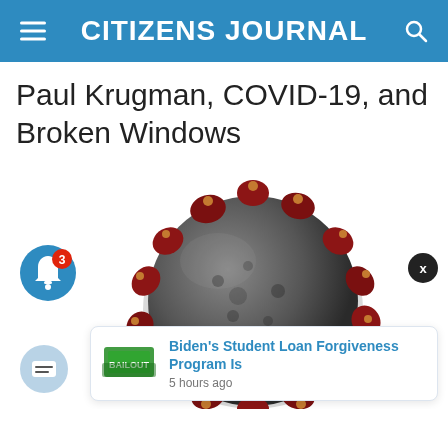CITIZENS JOURNAL
Paul Krugman, COVID-19, and Broken Windows
[Figure (photo): 3D rendered image of coronavirus particle with dark grey spherical body covered in red spike proteins and orange-tipped protrusions, shown against white background. Overlays include: blue notification bell icon with red badge showing '3', dark close button with 'x', and white notification popup card showing a student loan article thumbnail and text 'Biden's Student Loan Forgiveness Program Is' with timestamp '5 hours ago'.]